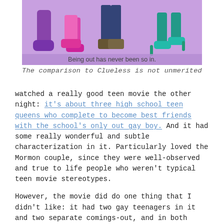[Figure (photo): Cropped photo of colorful shoes and legs of several people against a purple background, with tagline 'Being out has never been so in.' overlaid at the bottom of the image.]
The comparison to Clueless is not unmerited
watched a really good teen movie the other night: it's about three high school teen queens who complete to become best friends with the school's only out gay boy.  And it had some really wonderful and subtle characterization in it. Particularly loved the Mormon couple, since they were well-observed and true to life people who weren't typical teen movie stereotypes.
However, the movie did do one thing that I didn't like: it had two gay teenagers in it and two separate comings-out, and in both